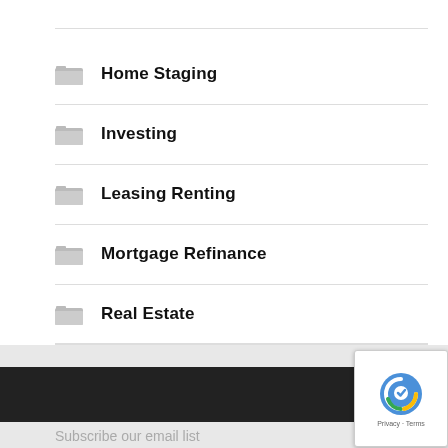Home Staging
Investing
Leasing Renting
Mortgage Refinance
Property Management
Real Estate
Newsletter
Subscribe our email list